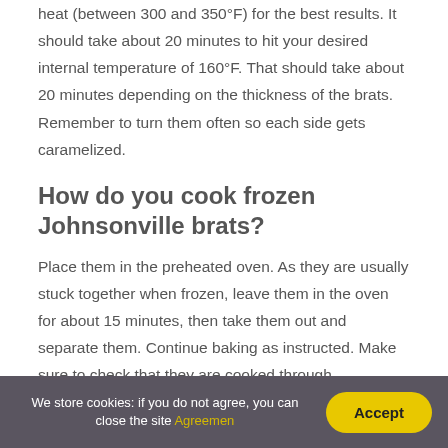heat (between 300 and 350°F) for the best results. It should take about 20 minutes to hit your desired internal temperature of 160°F. That should take about 20 minutes depending on the thickness of the brats. Remember to turn them often so each side gets caramelized.
How do you cook frozen Johnsonville brats?
Place them in the preheated oven. As they are usually stuck together when frozen, leave them in the oven for about 15 minutes, then take them out and separate them. Continue baking as instructed. Make sure to check that they are cooked through.
We store cookies: if you do not agree, you can close the site Agreemen